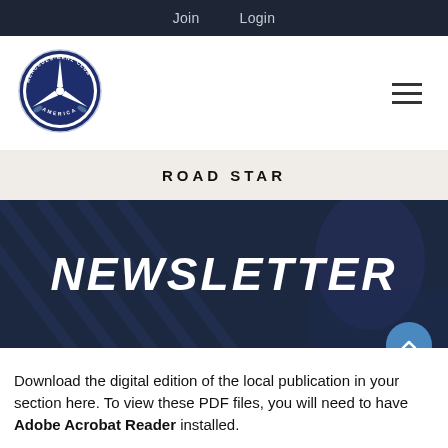Join   Login
[Figure (logo): Mercedes-Benz Club of America circular logo with three-pointed star]
ROAD STAR
NEWSLETTER
Download the digital edition of the local publication in your section here. To view these PDF files, you will need to have Adobe Acrobat Reader installed.